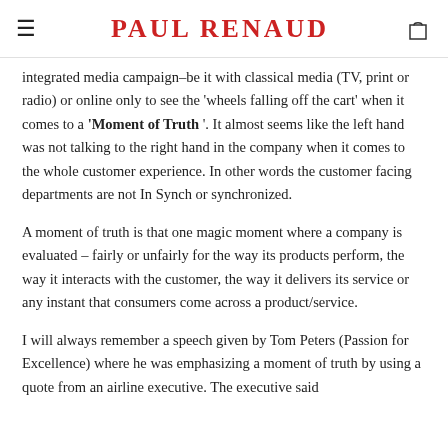≡  PAUL RENAUD  🛍
integrated media campaign–be it with classical media (TV, print or radio) or online only to see the 'wheels falling off the cart' when it comes to a 'Moment of Truth '. It almost seems like the left hand was not talking to the right hand in the company when it comes to the whole customer experience. In other words the customer facing departments are not In Synch or synchronized.
A moment of truth is that one magic moment where a company is evaluated – fairly or unfairly for the way its products perform, the way it interacts with the customer, the way it delivers its service or any instant that consumers come across a product/service.
I will always remember a speech given by Tom Peters (Passion for Excellence) where he was emphasizing a moment of truth by using a quote from an airline executive. The executive said